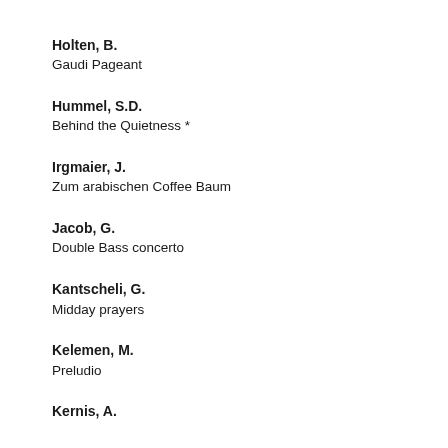Holten, B.
Gaudi Pageant
Hummel, S.D.
Behind the Quietness *
Irgmaier, J.
Zum arabischen Coffee Baum
Jacob, G.
Double Bass concerto
Kantscheli, G.
Midday prayers
Kelemen, M.
Preludio
Kernis, A.